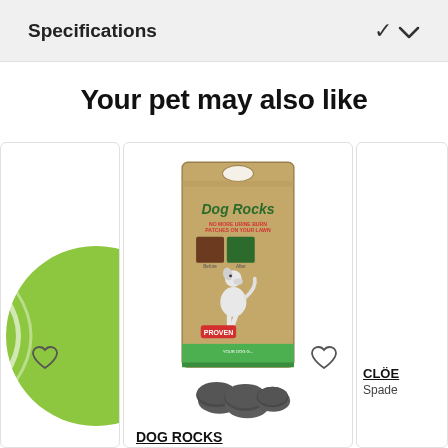Specifications
Your pet may also like
[Figure (photo): Partial view of a green tennis ball product card on the left, cropped at the edge]
[Figure (photo): Dog Rocks product - a kraft paper bag labeled 'Dog Rocks, No more urine burn patches on your lawn' with a cartoon dog illustration and three dark grey rocks in front]
DOG ROCKS
Natural rocks for water bowl
[Figure (photo): Partial view of CLÖE product card cropped on the right edge]
CLÖE
Spade